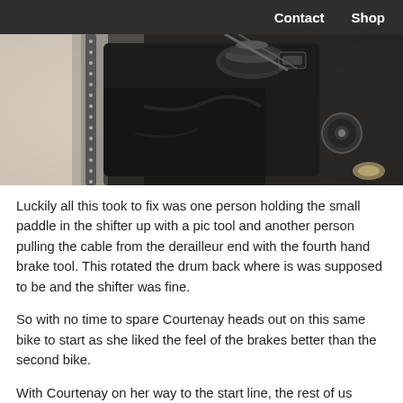Contact  Shop
[Figure (photo): Close-up photo of a black bicycle shifter mechanism showing the drum, cable pulley, and metal components against a blurred light background.]
Luckily all this took to fix was one person holding the small paddle in the shifter up with a pic tool and another person pulling the cable from the derailleur end with the fourth hand brake tool. This rotated the drum back where is was supposed to be and the shifter was fine.
So with no time to spare Courtenay heads out on this same bike to start as she liked the feel of the brakes better than the second bike.
With Courtenay on her way to the start line, the rest of us hightail it to the pit which was very close to our team tent.